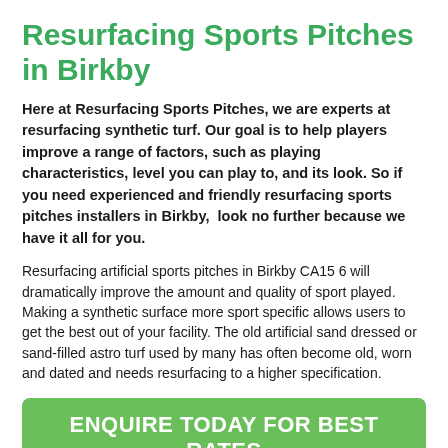Resurfacing Sports Pitches in Birkby
Here at Resurfacing Sports Pitches, we are experts at resurfacing synthetic turf. Our goal is to help players improve a range of factors, such as playing characteristics, level you can play to, and its look. So if you need experienced and friendly resurfacing sports pitches installers in Birkby,  look no further because we have it all for you.
Resurfacing artificial sports pitches in Birkby CA15 6 will dramatically improve the amount and quality of sport played. Making a synthetic surface more sport specific allows users to get the best out of your facility. The old artificial sand dressed or sand-filled astro turf used by many has often become old, worn and dated and needs resurfacing to a higher specification.
ENQUIRE TODAY FOR BEST RATES